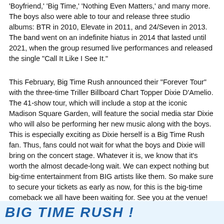'Boyfriend,' 'Big Time,' 'Nothing Even Matters,' and many more. The boys also were able to tour and release three studio albums: BTR in 2010, Elevate in 2011, and 24/Seven in 2013. The band went on an indefinite hiatus in 2014 that lasted until 2021, when the group resumed live performances and released the single "Call It Like I See It."
This February, Big Time Rush announced their "Forever Tour" with the three-time Triller Billboard Chart Topper Dixie D'Amelio. The 41-show tour, which will include a stop at the iconic Madison Square Garden, will feature the social media star Dixie who will also be performing her new music along with the boys. This is especially exciting as Dixie herself is a Big Time Rush fan. Thus, fans could not wait for what the boys and Dixie will bring on the concert stage. Whatever it is, we know that it's worth the almost decade-long wait. We can expect nothing but big-time entertainment from BIG artists like them. So make sure to secure your tickets as early as now, for this is the big-time comeback we all have been waiting for. See you at the venue!
BIG TIME RUSH ...